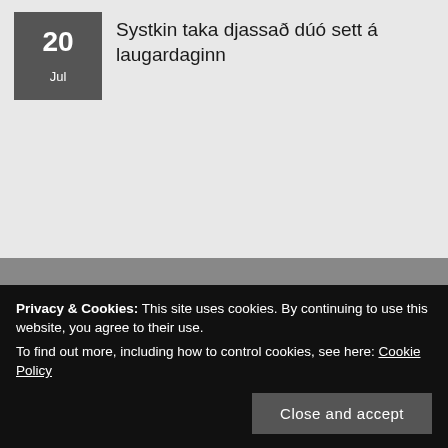Systkin taka djassað dúó sett á laugardaginn
Smekkleysa SM // Bad Taste Record Shop and Label
kt. 430588-1179
VSK 17960
s: +354 551 3730
Hverfisgata 32
Privacy & Cookies: This site uses cookies. By continuing to use this website, you agree to their use.
To find out more, including how to control cookies, see here: Cookie Policy
Close and accept